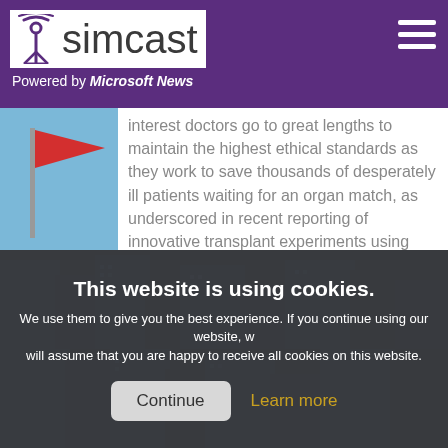simcast — Powered by Microsoft News
...interest doctors go to great lengths to maintain the highest ethical standards as they work to save thousands of desperately ill patients waiting for an organ match, as underscored in recent reporting of innovative transplant experiments using genetically...
Real Clear Politics
[Figure (photo): Blue-toned city skyscrapers photo, split into two bands by a cookie consent overlay]
This website is using cookies. We use them to give you the best experience. If you continue using our website, we will assume that you are happy to receive all cookies on this website. [Continue] [Learn more]